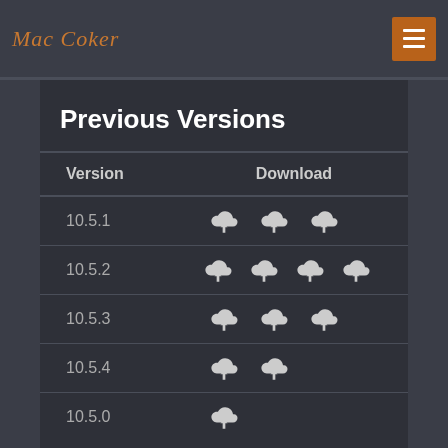Mac Coker
Previous Versions
| Version | Download |
| --- | --- |
| 10.5.1 | ☁↓ ☁↓ ☁↓ |
| 10.5.2 | ☁↓ ☁↓ ☁↓ ☁↓ |
| 10.5.3 | ☁↓ ☁↓ ☁↓ |
| 10.5.4 | ☁↓ ☁↓ |
| 10.5.0 | ☁↓ |